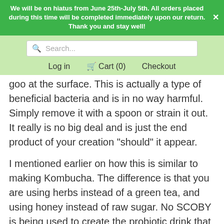We will be on hiatus from June 25th-July 5th. All orders placed during this time will be completed immediately upon our return. Thank you and stay well!
goo at the surface. This is actually a type of beneficial bacteria and is in no way harmful. Simply remove it with a spoon or strain it out. It really is no big deal and is just the end product of your creation "should" it appear.
I mentioned earlier on how this is similar to making Kombucha. The difference is that you are using herbs instead of a green tea, and using honey instead of raw sugar. No SCOBY is being used to create the probiotic drink that most enjoy. If you successfully made this drink, then you can certainly learn